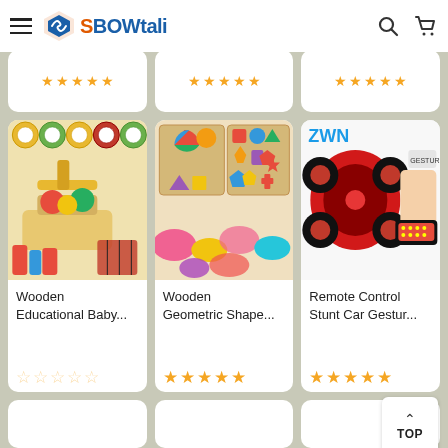BOWtali
[Figure (screenshot): Partial product card row at top - only star ratings visible]
[Figure (photo): Wooden Educational Baby toys product image]
Wooden Educational Baby...
[Figure (photo): Wooden Geometric Shape puzzle toy product image]
Wooden Geometric Shape...
[Figure (photo): Remote Control Stunt Car Gesture RC car product image]
Remote Control Stunt Car Gestur...
[Figure (screenshot): Partial bottom product card row - only tops visible]